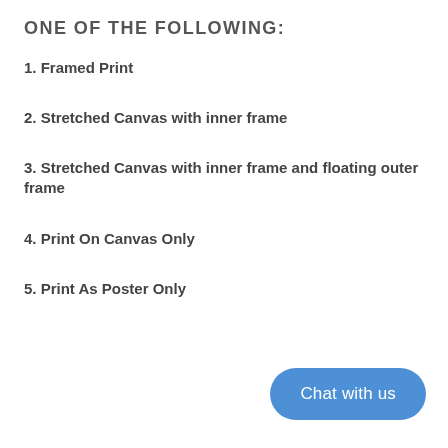ONE OF THE FOLLOWING:
1. Framed Print
2. Stretched Canvas with inner frame
3. Stretched Canvas with inner frame and floating outer frame
4. Print On Canvas Only
5. Print As Poster Only